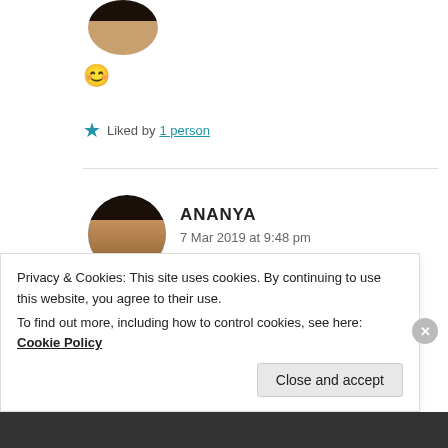[Figure (photo): Partial circular profile photo of a person at top of page]
😊
★ Liked by 1 person
[Figure (photo): Circular profile photo of Ananya]
ANANYA
7 Mar 2019 at 9:48 pm
I score good in english luckily
Privacy & Cookies: This site uses cookies. By continuing to use this website, you agree to their use.
To find out more, including how to control cookies, see here: Cookie Policy
Close and accept